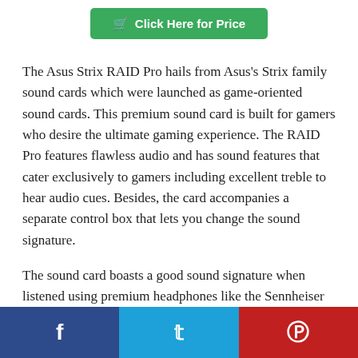[Figure (other): Green button with cart icon labeled 'Click Here for Price']
The Asus Strix RAID Pro hails from Asus's Strix family sound cards which were launched as game-oriented sound cards. This premium sound card is built for gamers who desire the ultimate gaming experience. The RAID Pro features flawless audio and has sound features that cater exclusively to gamers including excellent treble to hear audio cues. Besides, the card accompanies a separate control box that lets you change the sound signature.
The sound card boasts a good sound signature when listened using premium headphones like the Sennheiser HD800. The audio is not balanced with the added...
[Figure (other): Social sharing bar at the bottom with three buttons: Facebook (blue), Twitter (light blue), Pinterest (red)]